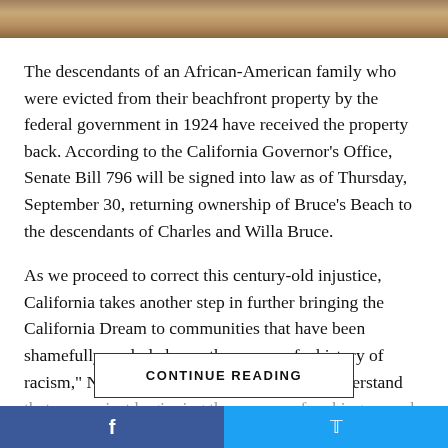[Figure (photo): Top decorative image bar showing earth/sand tones]
The descendants of an African-American family who were evicted from their beachfront property by the federal government in 1924 have received the property back. According to the California Governor's Office, Senate Bill 796 will be signed into law as of Thursday, September 30, returning ownership of Bruce's Beach to the descendants of Charles and Willa Bruce.
As we proceed to correct this century-old injustice, California takes another step in further bringing the California Dream to communities that have been shamefully excluded over the course of a history of racism,” Newsom said in a statement. “We understand that we are just beginning the process of making amends for our past, and California is known for the landmark bills that…
CONTINUE READING